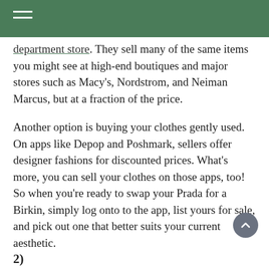department store. They sell many of the same items you might see at high-end boutiques and major stores such as Macy's, Nordstrom, and Neiman Marcus, but at a fraction of the price.
Another option is buying your clothes gently used. On apps like Depop and Poshmark, sellers offer designer fashions for discounted prices. What's more, you can sell your clothes on those apps, too! So when you're ready to swap your Prada for a Birkin, simply log onto to the app, list yours for sale, and pick out one that better suits your current aesthetic.
2)